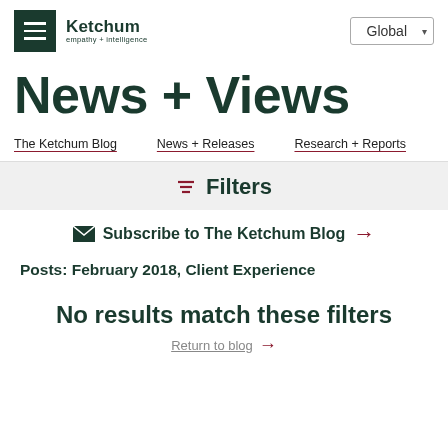Ketchum empathy + intelligence | Global
News + Views
The Ketchum Blog  News + Releases  Research + Reports
Filters
Subscribe to The Ketchum Blog →
Posts: February 2018, Client Experience
No results match these filters
Return to blog →